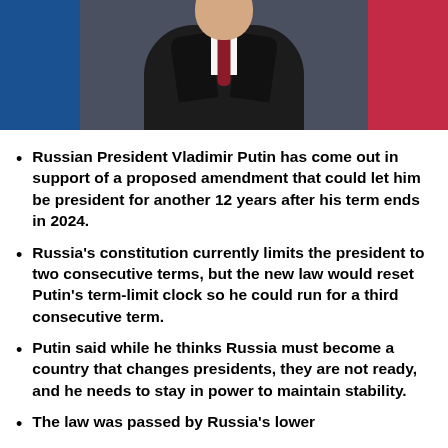[Figure (photo): Portrait photo of Russian President Vladimir Putin wearing a dark suit and dark red tie, with a Russian flag visible in the background (blue and red colors).]
Russian President Vladimir Putin has come out in support of a proposed amendment that could let him be president for another 12 years after his term ends in 2024.
Russia's constitution currently limits the president to two consecutive terms, but the new law would reset Putin's term-limit clock so he could run for a third consecutive term.
Putin said while he thinks Russia must become a country that changes presidents, they are not ready, and he needs to stay in power to maintain stability.
The law was passed by Russia's lower